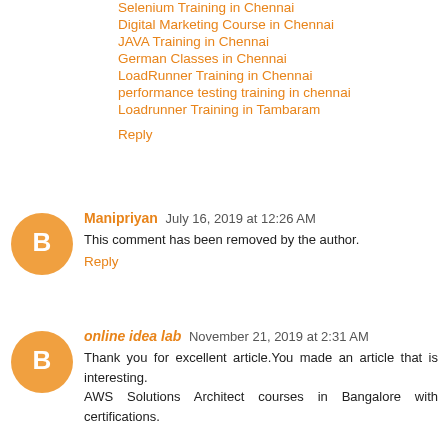Selenium Training in Chennai
Digital Marketing Course in Chennai
JAVA Training in Chennai
German Classes in Chennai
LoadRunner Training in Chennai
performance testing training in chennai
Loadrunner Training in Tambaram
Reply
Manipriyan  July 16, 2019 at 12:26 AM
This comment has been removed by the author.
Reply
online idea lab  November 21, 2019 at 2:31 AM
Thank you for excellent article.You made an article that is interesting.
AWS Solutions Architect courses in Bangalore with certifications.